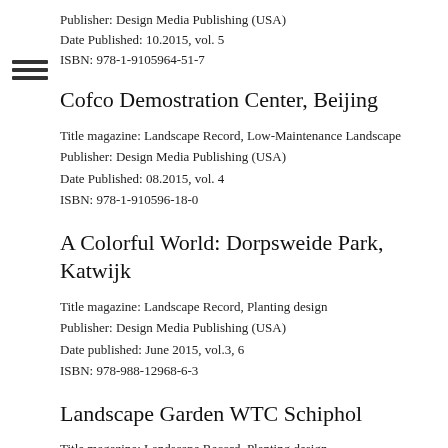Publisher: Design Media Publishing (USA)
Date Published: 10.2015, vol. 5
ISBN: 978-1-9105964-51-7
Cofco Demostration Center, Beijing
Title magazine: Landscape Record, Low-Maintenance Landscape
Publisher: Design Media Publishing (USA)
Date Published: 08.2015, vol. 4
ISBN: 978-1-910596-18-0
A Colorful World: Dorpsweide Park, Katwijk
Title magazine: Landscape Record, Planting design
Publisher: Design Media Publishing (USA)
Date published: June 2015, vol.3, 6
ISBN: 978-988-12968-6-3
Landscape Garden WTC Schiphol
Title magazine: Landscape Record, Planting design
Publisher: Design Media Publishing (USA)
Date published: June 2015, vol.3, 6
ISBN: 978-988-12968-6-3